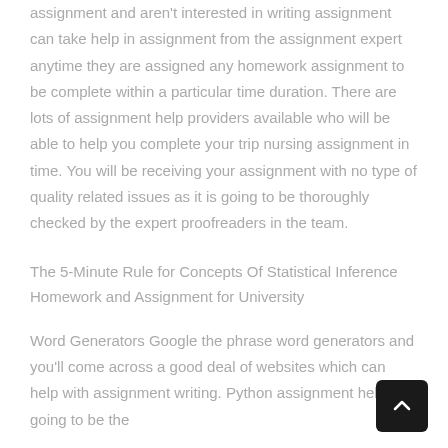assignment and aren't interested in writing assignment can take help in assignment from the assignment expert anytime they are assigned any homework assignment to be complete within a particular time duration. There are lots of assignment help providers available who will be able to help you complete your trip nursing assignment in time. You will be receiving your assignment with no type of quality related issues as it is going to be thoroughly checked by the expert proofreaders in the team.
The 5-Minute Rule for Concepts Of Statistical Inference Homework and Assignment for University
Word Generators Google the phrase word generators and you'll come across a good deal of websites which can help with assignment writing. Python assignment help is going to be the